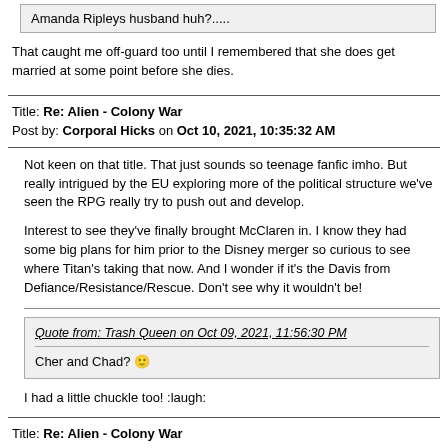Amanda Ripleys husband huh?.....
That caught me off-guard too until I remembered that she does get married at some point before she dies.
Title: Re: Alien - Colony War
Post by: Corporal Hicks on Oct 10, 2021, 10:35:32 AM
Not keen on that title. That just sounds so teenage fanfic imho. But really intrigued by the EU exploring more of the political structure we've seen the RPG really try to push out and develop.
Interest to see they've finally brought McClaren in. I know they had some big plans for him prior to the Disney merger so curious to see where Titan's taking that now. And I wonder if it's the Davis from Defiance/Resistance/Rescue. Don't see why it wouldn't be!
Quote from: Trash Queen on Oct 09, 2021, 11:56:30 PM
Cher and Chad? 🙂
I had a little chuckle too!  :laugh:
Title: Re: Alien - Colony War
Post by: Nukiemorph on Oct 10, 2021, 11:15:09 AM